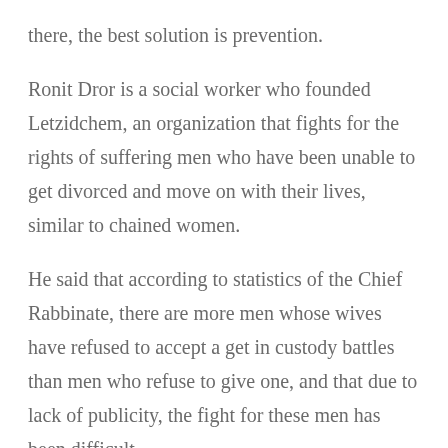there, the best solution is prevention.
Ronit Dror is a social worker who founded Letzidchem, an organization that fights for the rights of suffering men who have been unable to get divorced and move on with their lives, similar to chained women.
He said that according to statistics of the Chief Rabbinate, there are more men whose wives have refused to accept a get in custody battles than men who refuse to give one, and that due to lack of publicity, the fight for these men has been difficult.